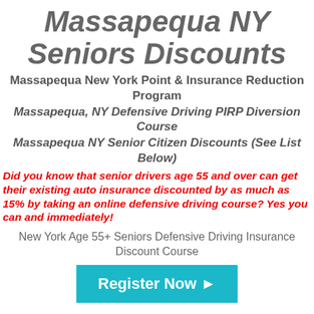Massapequa NY Seniors Discounts
Massapequa New York Point & Insurance Reduction Program
Massapequa, NY Defensive Driving PIRP Diversion Course
Massapequa NY Senior Citizen Discounts (See List Below)
Did you know that senior drivers age 55 and over can get their existing auto insurance discounted by as much as 15% by taking an online defensive driving course? Yes you can and immediately!
New York Age 55+ Seniors Defensive Driving Insurance Discount Course
[Figure (other): A teal/cyan button with white bold text 'Register Now ▶']